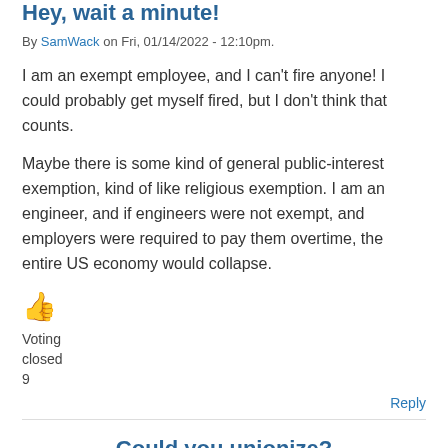Hey, wait a minute!
By SamWack on Fri, 01/14/2022 - 12:10pm.
I am an exempt employee, and I can't fire anyone! I could probably get myself fired, but I don't think that counts.
Maybe there is some kind of general public-interest exemption, kind of like religious exemption. I am an engineer, and if engineers were not exempt, and employers were required to pay them overtime, the entire US economy would collapse.
[Figure (other): Thumbs up emoji icon in orange/yellow color]
Voting closed 9
Reply
Could you unionize?